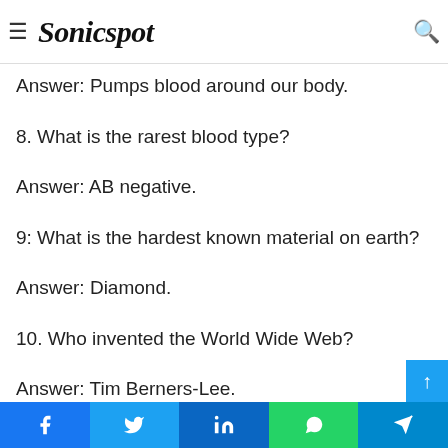Sonicspot
Answer: Eight.
7. What does the heart do?
Answer: Pumps blood around our body.
8. What is the rarest blood type?
Answer: AB negative.
9: What is the hardest known material on earth?
Answer: Diamond.
10. Who invented the World Wide Web?
Answer: Tim Berners-Lee.
Facebook Twitter LinkedIn WhatsApp Telegram